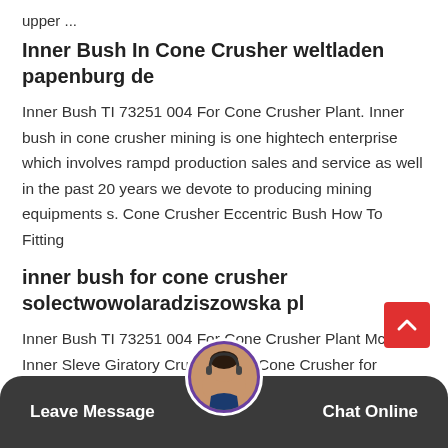upper ...
Inner Bush In Cone Crusher weltladen papenburg de
Inner Bush TI 73251 004 For Cone Crusher Plant. Inner bush in cone crusher mining is one hightech enterprise which involves rampd production sales and service as well in the past 20 years we devote to producing mining equipments s. Cone Crusher Eccentric Bush How To Fitting
inner bush for cone crusher solectwowolaradziszowska pl
Inner Bush TI 73251 004 For Cone Crusher Plant Mc. Inner Sleve Giratory Crusher . CS Cone Crusher for saleCS Cached Cone Crusher Compact Crusher installation use and more Get Price inner bush tl 73251 004 for cone crusher plant inner sleeve
Leave Message   Chat Online